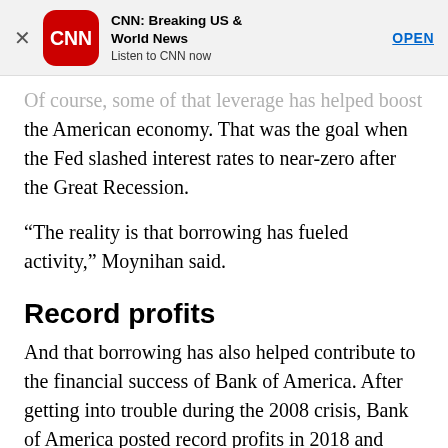[Figure (other): CNN app advertisement banner with CNN logo, title 'CNN: Breaking US & World News', subtitle 'Listen to CNN now', and OPEN button]
Of course, some of that leverage has helped boost the American economy. That was the goal when the Fed slashed interest rates to near-zero after the Great Recession.
“The reality is that borrowing has fueled activity,” Moynihan said.
Record profits
And that borrowing has also helped contribute to the financial success of Bank of America. After getting into trouble during the 2008 crisis, Bank of America posted record profits in 2018 and again during the first quarter of this year.